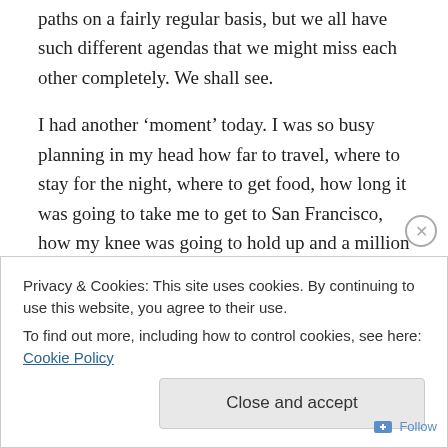paths on a fairly regular basis, but we all have such different agendas that we might miss each other completely. We shall see.
I had another ‘moment’ today. I was so busy planning in my head how far to travel, where to stay for the night, where to get food, how long it was going to take me to get to San Francisco, how my knee was going to hold up and a million other things that I suddenly realized I was sort of missing the ‘now’. I stopped and just took in the view for a bit…
Privacy & Cookies: This site uses cookies. By continuing to use this website, you agree to their use.
To find out more, including how to control cookies, see here: Cookie Policy